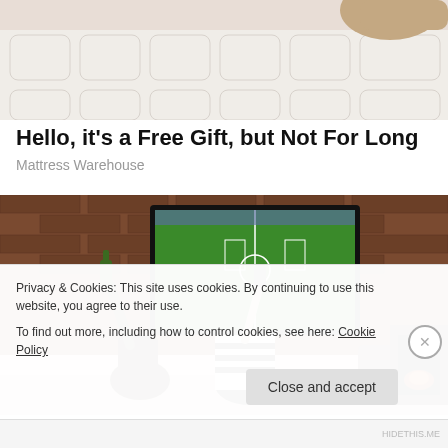[Figure (photo): Partial photo of a person lying on a white quilted mattress, showing legs/feet area]
Hello, it's a Free Gift, but Not For Long
Mattress Warehouse
[Figure (photo): Photo of people watching soccer on a large TV mounted on a brick wall, raising drinks in celebration]
Privacy & Cookies: This site uses cookies. By continuing to use this website, you agree to their use.
To find out more, including how to control cookies, see here: Cookie Policy
Close and accept